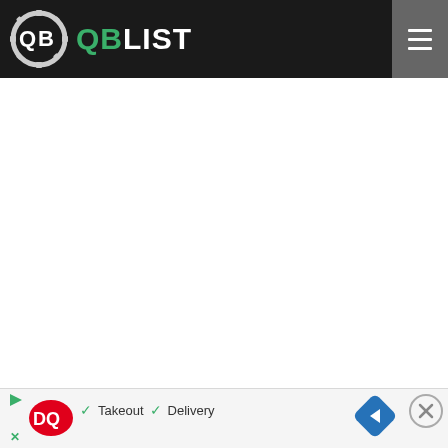QB LIST
[Figure (logo): QBList website header with gear/QB logo icon on the left, QBLIST text (QB in green, LIST in white) in the center-left, and a hamburger menu button on the right, all on a dark background.]
[Figure (screenshot): Dairy Queen advertisement banner at the bottom showing DQ logo, checkmarks with Takeout and Delivery text, a blue diamond navigation arrow, and an X close button.]